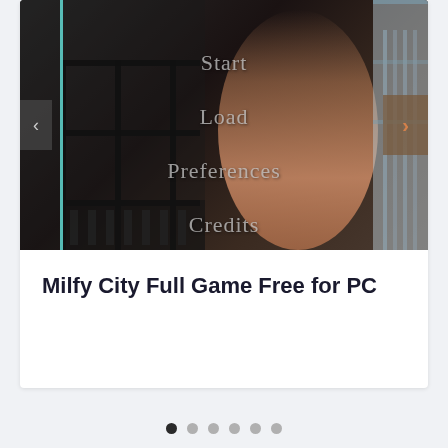[Figure (screenshot): Screenshot of Milfy City game main menu showing options: Start, Load, Preferences, Credits overlaid on a dark background with a teal vertical line on the left and a skin-tone figure on the right. Left and right navigation arrows are visible.]
Milfy City Full Game Free for PC
[Figure (infographic): Carousel dot indicators: 6 dots, first dot is dark/active, remaining 5 are light gray]